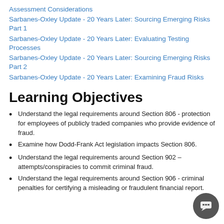Assessment Considerations
Sarbanes-Oxley Update - 20 Years Later: Sourcing Emerging Risks Part 1
Sarbanes-Oxley Update - 20 Years Later: Evaluating Testing Processes
Sarbanes-Oxley Update - 20 Years Later: Sourcing Emerging Risks Part 2
Sarbanes-Oxley Update - 20 Years Later: Examining Fraud Risks
Learning Objectives
Understand the legal requirements around Section 806 - protection for employees of publicly traded companies who provide evidence of fraud.
Examine how Dodd-Frank Act legislation impacts Section 806.
Understand the legal requirements around Section 902 – attempts/conspiracies to commit criminal fraud.
Understand the legal requirements around Section 906 - criminal penalties for certifying a misleading or fraudulent financial report.